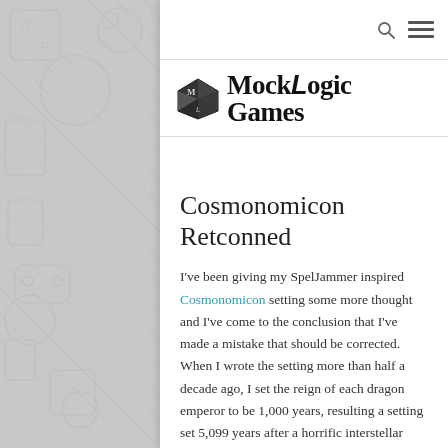MockLogic Games
Cosmonomicon Retconned
I've been giving my SpellJammer inspired Cosmonomicon setting some more thought and I've come to the conclusion that I've made a mistake that should be corrected. When I wrote the setting more than half a decade ago, I set the reign of each dragon emperor to be 1,000 years, resulting a setting set 5,099 years after a horrific interstellar Dragon War. Upon reflection, this results in some issues and missed opportunities, so I've decided to retcon that down to 100 years reigns, and I'm altering the existing articles to reflect this